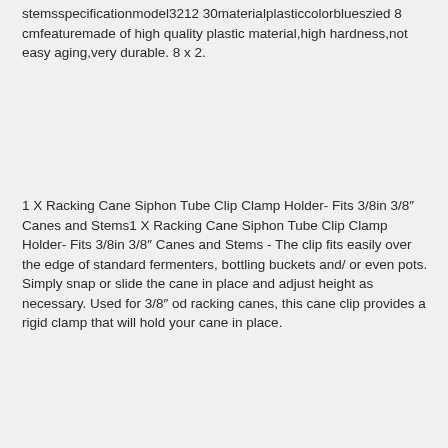stemsspecificationmodel3212 30materialplasticcolorblueszied 8 cmfeaturemade of high quality plastic material,high hardness,not easy aging,very durable. 8 x 2.
1 X Racking Cane Siphon Tube Clip Clamp Holder- Fits 3/8in 3/8" Canes and Stems1 X Racking Cane Siphon Tube Clip Clamp Holder- Fits 3/8in 3/8" Canes and Stems - The clip fits easily over the edge of standard fermenters, bottling buckets and/ or even pots. Simply snap or slide the cane in place and adjust height as necessary. Used for 3/8" od racking canes, this cane clip provides a rigid clamp that will hold your cane in place.